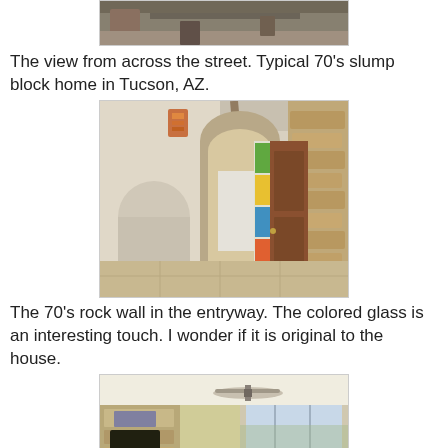[Figure (photo): Exterior view of a 70s slump block home in Tucson, AZ, seen from across the street]
The view from across the street. Typical 70's slump block home in Tucson, AZ.
[Figure (photo): Interior entryway showing a 70s rock wall, arched niches, exposed beam ceiling, colored glass panel, and a wooden door]
The 70's rock wall in the entryway. The colored glass is an interesting touch. I wonder if it is original to the house.
[Figure (photo): Living room with stone fireplace, ceiling fan, tile floor, sliding glass doors, and 70s style furniture]